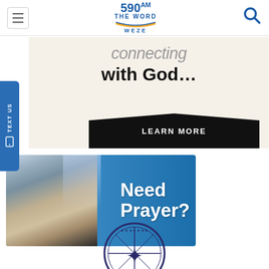590 AM THE WORD WEZE
[Figure (screenshot): Advertisement banner: 'connecting with God...' with LEARN MORE button on dark background]
[Figure (illustration): Advertisement banner showing clasped praying hands on left, blue background on right with text 'Need Prayer?']
[Figure (logo): Circular logo at bottom of page, partially visible]